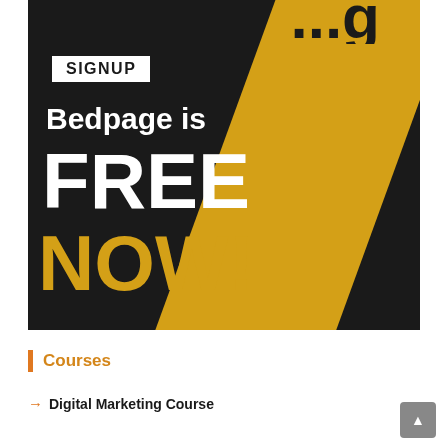[Figure (infographic): Dark background advertisement for Bedpage. Contains a yellow diagonal stripe, a white SIGNUP button box, text 'Bedpage is FREE NOW!' where FREE is white and NOW! is gold/yellow. Background is near-black.]
Courses
Digital Marketing Course